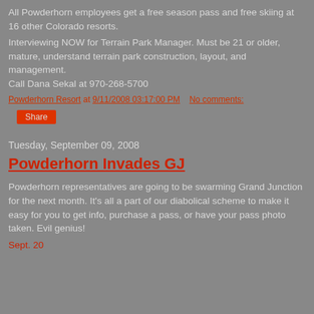All Powderhorn employees get a free season pass and free skiing at 16 other Colorado resorts.
Interviewing NOW for Terrain Park Manager. Must be 21 or older, mature, understand terrain park construction, layout, and management.
Call Dana Sekal at 970-268-5700
Powderhorn Resort at 9/11/2008 03:17:00 PM   No comments:
Share
Tuesday, September 09, 2008
Powderhorn Invades GJ
Powderhorn representatives are going to be swarming Grand Junction for the next month. It's all a part of our diabolical scheme to make it easy for you to get info, purchase a pass, or have your pass photo taken. Evil genius!
Sept. 20